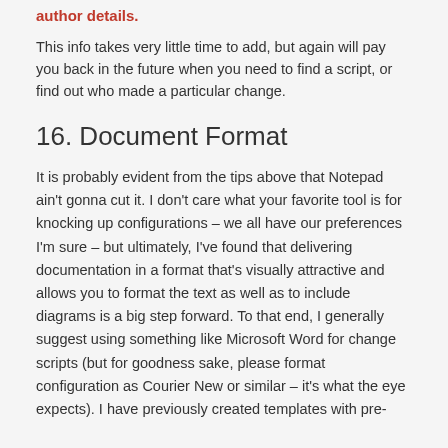author details.
This info takes very little time to add, but again will pay you back in the future when you need to find a script, or find out who made a particular change.
16. Document Format
It is probably evident from the tips above that Notepad ain't gonna cut it. I don't care what your favorite tool is for knocking up configurations – we all have our preferences I'm sure – but ultimately, I've found that delivering documentation in a format that's visually attractive and allows you to format the text as well as to include diagrams is a big step forward. To that end, I generally suggest using something like Microsoft Word for change scripts (but for goodness sake, please format configuration as Courier New or similar – it's what the eye expects). I have previously created templates with pre-